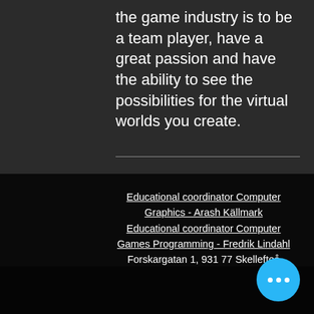the game industry is to be a team player, have a great passion and have the ability to see the possibilities for the virtual worlds you create.
Educational coordinator Computer Graphics - Arash Källmark
Educational coordinator Computer Games Programming - Fredrik Lindahl
Forskargatan 1, 931 77 Skellefteå
© Copyright All Rights Reserved | Luleå University of Technology 2020